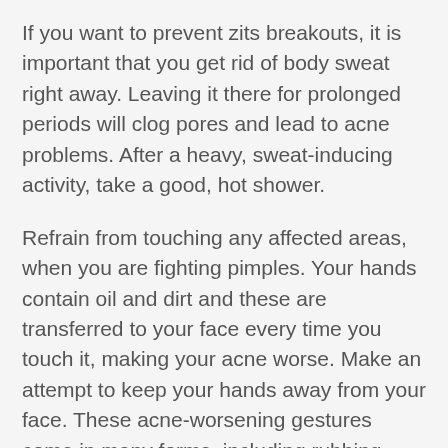If you want to prevent zits breakouts, it is important that you get rid of body sweat right away. Leaving it there for prolonged periods will clog pores and lead to acne problems. After a heavy, sweat-inducing activity, take a good, hot shower.
Refrain from touching any affected areas, when you are fighting pimples. Your hands contain oil and dirt and these are transferred to your face every time you touch it, making your acne worse. Make an attempt to keep your hands away from your face. These acne-worsening gestures come in many forms, including rubbing your nose, resting your chin on your hand, and cupping your face.